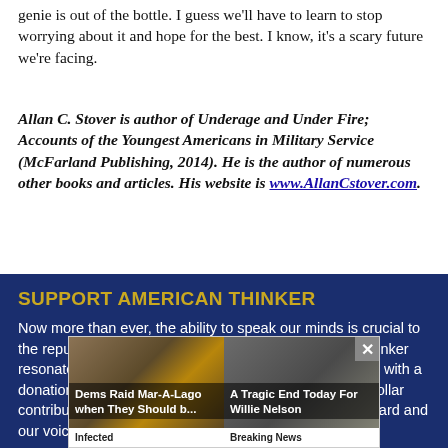genie is out of the bottle. I guess we'll have to learn to stop worrying about it and hope for the best. I know, it's a scary future we're facing.
Allan C. Stover is author of Underage and Under Fire; Accounts of the Youngest Americans in Military Service (McFarland Publishing, 2014). He is the author of numerous other books and articles. His website is www.AllanCstover.com.
SUPPORT AMERICAN THINKER
Now more than ever, the ability to speak our minds is crucial to the republic we cherish. If what you see on American Thinker resonates with you, please consider supporting our work with a donation of as much or as little as you can give. Every dollar contributed helps us pay our staff and keep our ideas heard and our voices
Thank
[Figure (screenshot): Popup overlay showing two news thumbnails: 'Dems Raid Mar-A-Lago when They Should b... / Infected' and 'A Tragic End Today For Willie Nelson / Breaking News', with a close (X) button in the top right corner.]